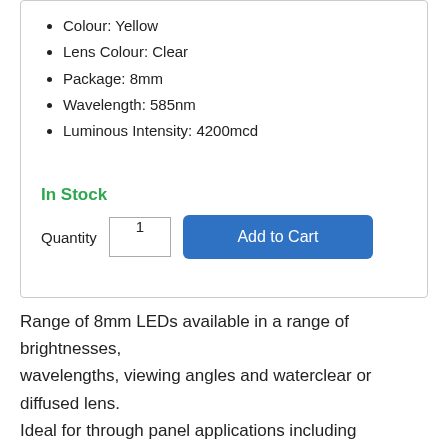Colour: Yellow
Lens Colour: Clear
Package: 8mm
Wavelength: 585nm
Luminous Intensity: 4200mcd
In Stock
Quantity  1  Add to Cart
Range of 8mm LEDs available in a range of brightnesses, wavelengths, viewing angles and waterclear or diffused lens. Ideal for through panel applications including backlighting and